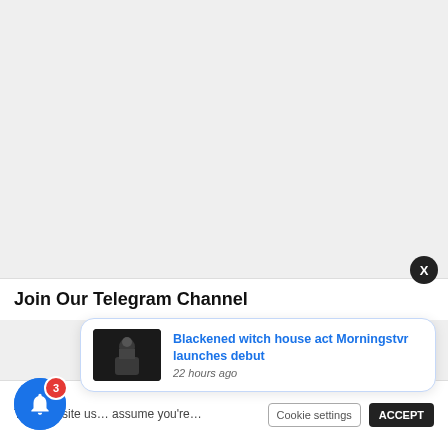[Figure (screenshot): Light grey blank page background area]
Join Our Telegram Channel
This website us… assume you're…
[Figure (screenshot): Notification popup with thumbnail image of dark figure (Morningstvr), title: Blackened witch house act Morningstvr launches debut, time: 22 hours ago]
Cookie settings
ACCEPT